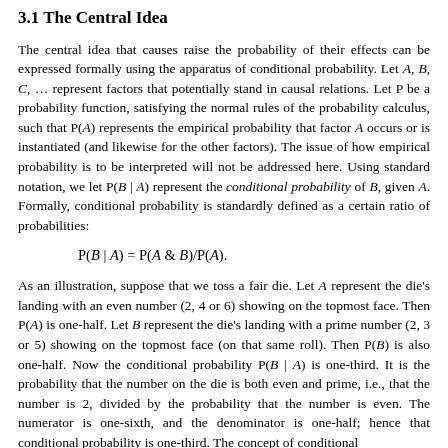3.1 The Central Idea
The central idea that causes raise the probability of their effects can be expressed formally using the apparatus of conditional probability. Let A, B, C, … represent factors that potentially stand in causal relations. Let P be a probability function, satisfying the normal rules of the probability calculus, such that P(A) represents the empirical probability that factor A occurs or is instantiated (and likewise for the other factors). The issue of how empirical probability is to be interpreted will not be addressed here. Using standard notation, we let P(B | A) represent the conditional probability of B, given A. Formally, conditional probability is standardly defined as a certain ratio of probabilities:
As an illustration, suppose that we toss a fair die. Let A represent the die's landing with an even number (2, 4 or 6) showing on the topmost face. Then P(A) is one-half. Let B represent the die's landing with a prime number (2, 3 or 5) showing on the topmost face (on that same roll). Then P(B) is also one-half. Now the conditional probability P(B | A) is one-third. It is the probability that the number on the die is both even and prime, i.e., that the number is 2, divided by the probability that the number is even. The numerator is one-sixth, and the denominator is one-half; hence that conditional probability is one-third. The concept of conditional